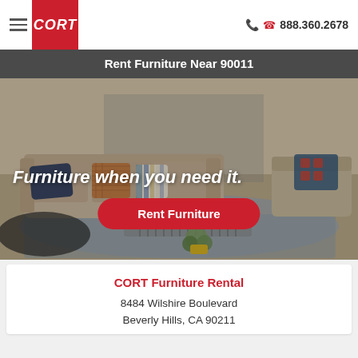[Figure (logo): CORT logo in red box, hamburger menu icon on left, phone number 888.360.2678 on right]
Rent Furniture Near 90011
[Figure (photo): Living room furniture scene with beige sofa, colorful pillows, coffee table, and accent chairs. Overlaid text: 'Furniture when you need it.' and a red 'Rent Furniture' button.]
CORT Furniture Rental
8484 Wilshire Boulevard
Beverly Hills, CA 90211